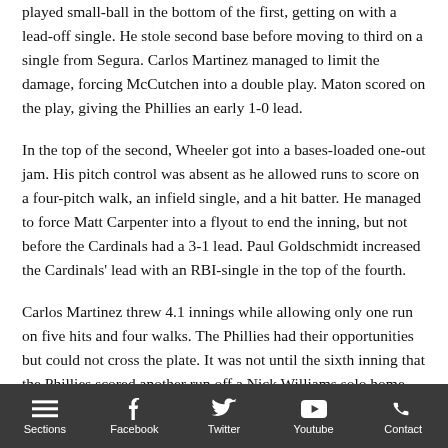played small-ball in the bottom of the first, getting on with a lead-off single. He stole second base before moving to third on a single from Segura. Carlos Martinez managed to limit the damage, forcing McCutchen into a double play. Maton scored on the play, giving the Phillies an early 1-0 lead.
In the top of the second, Wheeler got into a bases-loaded one-out jam. His pitch control was absent as he allowed runs to score on a four-pitch walk, an infield single, and a hit batter. He managed to force Matt Carpenter into a flyout to end the inning, but not before the Cardinals had a 3-1 lead. Paul Goldschmidt increased the Cardinals' lead with an RBI-single in the top of the fourth.
Carlos Martinez threw 4.1 innings while allowing only one run on five hits and four walks. The Phillies had their opportunities but could not cross the plate. It was not until the sixth inning that the Phillies scored another run off a Nick Williams solo home run. But
Sections | Facebook | Twitter | Youtube | Contact